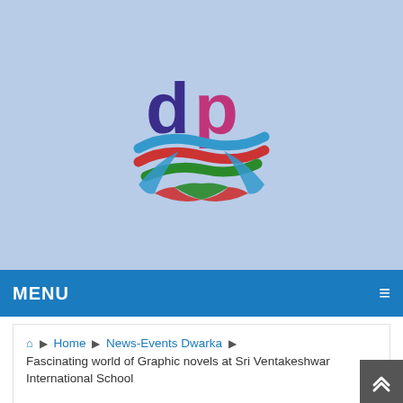[Figure (logo): DwarkaParichay.com logo - stylized 'dp' letters in purple/magenta with colorful wave/ribbon design below]
MENU
Home › News-Events Dwarka › Fascinating world of Graphic novels at Sri Ventakeshwar International School
Fascinating world of Graphic novels at Sri Ventakeshwar International School
DwarkaParichay.com  August 5, 2016  News-